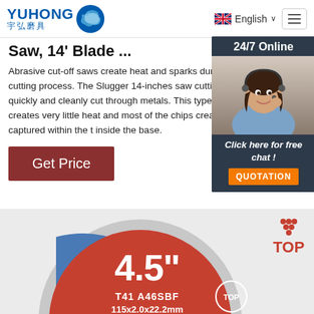YUHONG 宇弘磨具 — English
Saw, 14' Blade ...
Abrasive cut-off saws create heat and sparks during the cutting process. The Slugger 14-inches saw cutting blade to quickly and cleanly cut through metals. This type of blade creates very little heat and most of the chips created are captured within the tool inside the base.
Get Price
[Figure (photo): Customer service representative with headset, 24/7 Online chat widget with QUOTATION button]
[Figure (photo): Abrasive cutting disc labeled 4.5" T41 A46SBF 115x2.0x22.2mm with TOP branding]